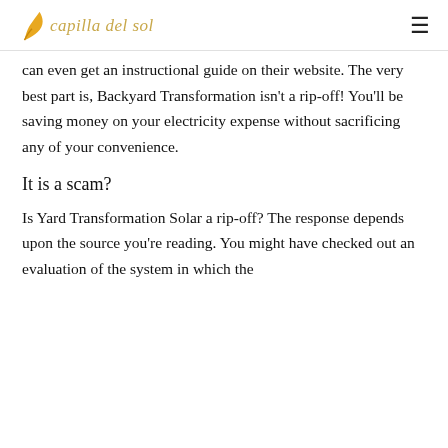capilla del sol
can even get an instructional guide on their website. The very best part is, Backyard Transformation isn't a rip-off! You'll be saving money on your electricity expense without sacrificing any of your convenience.
It is a scam?
Is Yard Transformation Solar a rip-off? The response depends upon the source you're reading. You might have checked out an evaluation of the system in which the